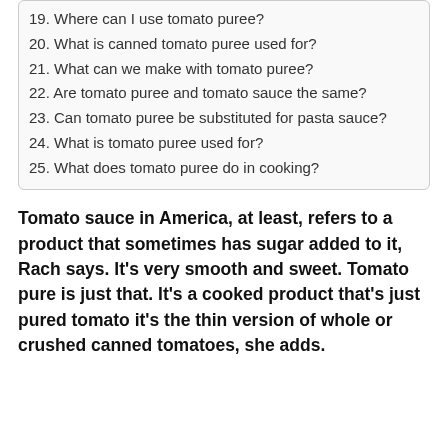19. Where can I use tomato puree?
20. What is canned tomato puree used for?
21. What can we make with tomato puree?
22. Are tomato puree and tomato sauce the same?
23. Can tomato puree be substituted for pasta sauce?
24. What is tomato puree used for?
25. What does tomato puree do in cooking?
Tomato sauce in America, at least, refers to a product that sometimes has sugar added to it, Rach says. It’s very smooth and sweet. Tomato pure is just that. It’s a cooked product that’s just pured tomato it’s the thin version of whole or crushed canned tomatoes, she adds.